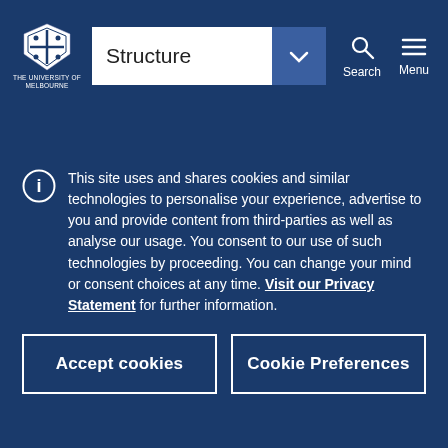Structure (dropdown) | Search | Menu — University of Melbourne navigation bar
| Code | Subject | Semester |
| --- | --- | --- |
|  | in Mind |  |
| ANTH20008 | Anthropology of Gender and Sexuality | Semester 1 |
| ANTH20007 | Working with | Semester 2 |
This site uses and shares cookies and similar technologies to personalise your experience, advertise to you and provide content from third-parties as well as analyse our usage. You consent to our use of such technologies by proceeding. You can change your mind or consent choices at any time. Visit our Privacy Statement for further information.
Accept cookies | Cookie Preferences